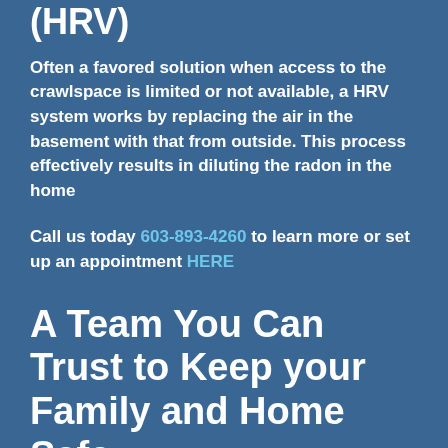(HRV)
Often a favored solution when access to the crawlspace is limited or not available, a HRV system works by replacing the air in the basement with that from outside. This process effectively results in diluting the radon in the home
Call us today 603-893-4260 to learn more or set up an appointment HERE
A Team You Can Trust to Keep your Family and Home Safe